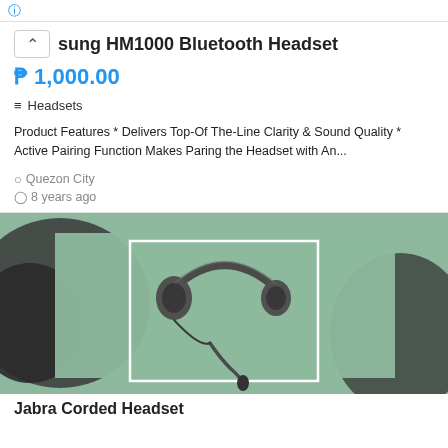ⓘ [navigation/breadcrumb links]
sung HM1000 Bluetooth Headset
₱ 1,000.00
≡≡ Headsets
Product Features * Delivers Top-Of The-Line Clarity & Sound Quality * Active Pairing Function Makes Paring the Headset with An...
Quezon City
8 years ago
[Figure (photo): Photo of a Jabra corded headset lying on a teal/green surface, with a white rectangle bounding box highlighting the headset. A dark blurred bowl/object is visible on the left side.]
Jabra Corded Headset